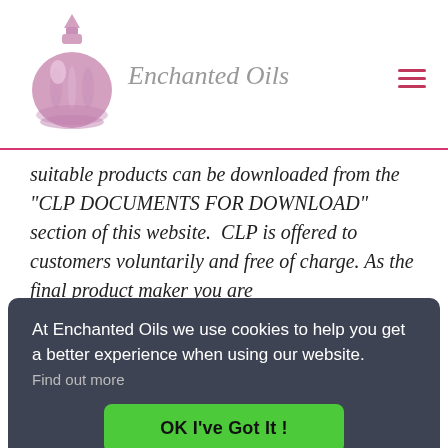[Figure (logo): Pink perfume bottle logo for Enchanted Oils brand]
Enchanted Oils
suitable products can be downloaded from the "CLP DOCUMENTS FOR DOWNLOAD" section of this website.  CLP is offered to customers voluntarily and free of charge. As the final product maker you are
ances
u
ation
At Enchanted Oils we use cookies to help you get a better experience when using our website. Find out more
OK I've Got It !